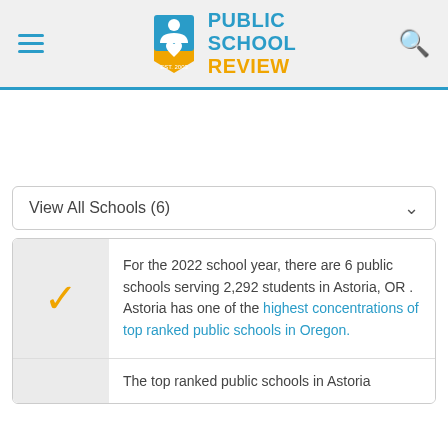Public School Review — EST. 2003
View All Schools (6)
For the 2022 school year, there are 6 public schools serving 2,292 students in Astoria, OR . Astoria has one of the highest concentrations of top ranked public schools in Oregon.
The top ranked public schools in Astoria